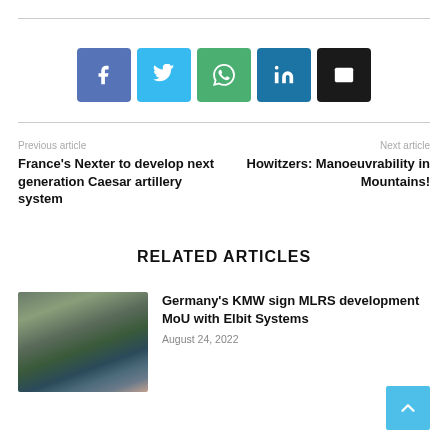[Figure (infographic): Social share buttons: Facebook (blue-purple), Twitter (light blue), WhatsApp (green), LinkedIn (dark blue), Email (black)]
Previous article
France's Nexter to develop next generation Caesar artillery system
Next article
Howitzers: Manoeuvrability in Mountains!
RELATED ARTICLES
[Figure (photo): Military artillery vehicle photographed outdoors with cloudy sky]
Germany's KMW sign MLRS development MoU with Elbit Systems
August 24, 2022